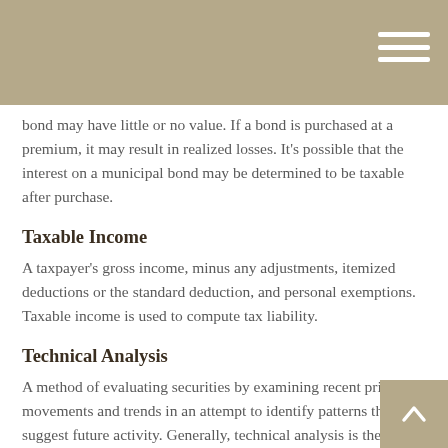bond may have little or no value. If a bond is purchased at a premium, it may result in realized losses. It’s possible that the interest on a municipal bond may be determined to be taxable after purchase.
Taxable Income
A taxpayer’s gross income, minus any adjustments, itemized deductions or the standard deduction, and personal exemptions. Taxable income is used to compute tax liability.
Technical Analysis
A method of evaluating securities by examining recent price movements and trends in an attempt to identify patterns that can suggest future activity. Generally, technical analysis is the opposite of fundamental